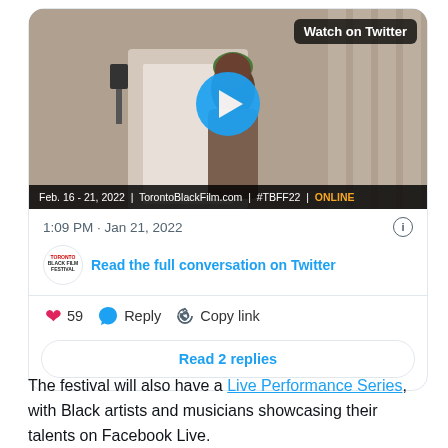[Figure (screenshot): Twitter/social media embedded tweet card showing a video thumbnail of a woman outside a building with a blue play button and 'Watch on Twitter' badge, date Feb. 16-21, 2022, TorontoBlackFilm.com, #TBFF22, ONLINE. Below: timestamp 1:09 PM · Jan 21, 2022, Toronto Black Film Festival logo, 'Read the full conversation on Twitter' link, 59 likes, Reply, Copy link actions, and 'Read 2 replies' button.]
The festival will also have a Live Performance Series, with Black artists and musicians showcasing their talents on Facebook Live.